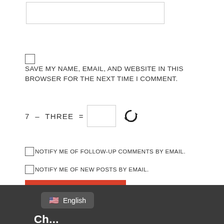[Figure (screenshot): Text input box at top of comment form]
SAVE MY NAME, EMAIL, AND WEBSITE IN THIS BROWSER FOR THE NEXT TIME I COMMENT.
7 − THREE =
NOTIFY ME OF FOLLOW-UP COMMENTS BY EMAIL.
NOTIFY ME OF NEW POSTS BY EMAIL.
POST COMMENT
English